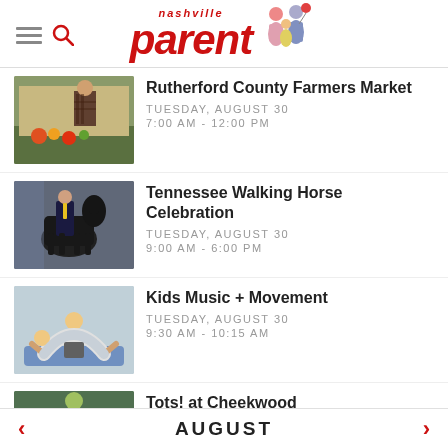nashville parent
Rutherford County Farmers Market
TUESDAY, AUGUST 30
7:00 AM - 12:00 PM
Tennessee Walking Horse Celebration
TUESDAY, AUGUST 30
9:00 AM - 6:00 PM
Kids Music + Movement
TUESDAY, AUGUST 30
9:30 AM - 10:15 AM
Tots! at Cheekwood
TUESDAY, AUGUST 30
< AUGUST >